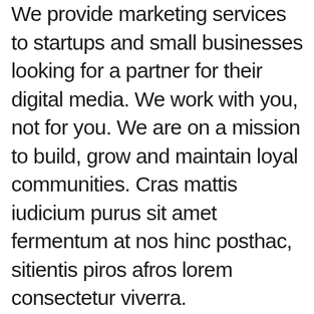We provide marketing services to startups and small businesses looking for a partner for their digital media. We work with you, not for you. We are on a mission to build, grow and maintain loyal communities. Cras mattis iudicium purus sit amet fermentum at nos hinc posthac, sitientis piros afros lorem consectetur viverra.